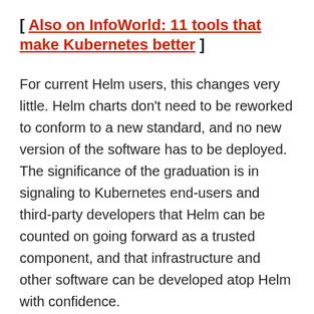[ Also on InfoWorld: 11 tools that make Kubernetes better ]
For current Helm users, this changes very little. Helm charts don't need to be reworked to conform to a new standard, and no new version of the software has to be deployed. The significance of the graduation is in signaling to Kubernetes end-users and third-party developers that Helm can be counted on going forward as a trusted component, and that infrastructure and other software can be developed atop Helm with confidence.
Helm, now in its third major revision, has long